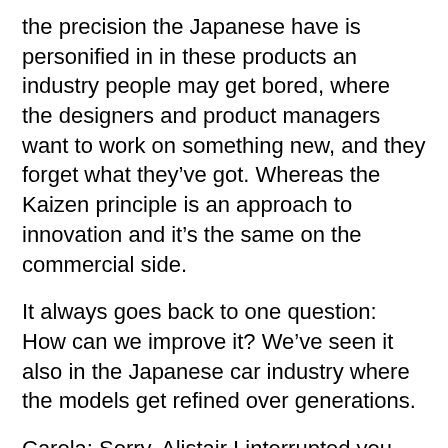the precision the Japanese have is personified in in these products an industry people may get bored, where the designers and product managers want to work on something new, and they forget what they’ve got. Whereas the Kaizen principle is an approach to innovation and it’s the same on the commercial side.
It always goes back to one question: How can we improve it? We’ve seen it also in the Japanese car industry where the models get refined over generations.
Carola: Sorry, Alistair I interrupted you. You were talking about it is the same commercially…
Alistair: I guess I’m a little bit obsessed with Japan. Lexus is the same. Their engineering is